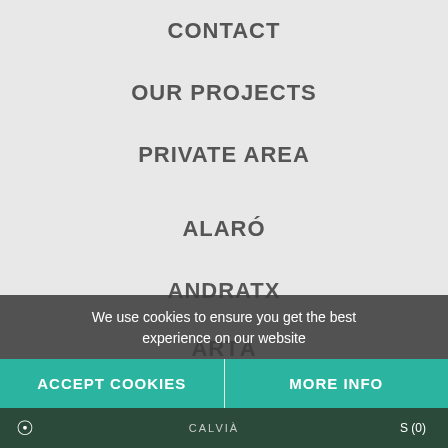CONTACT
OUR PROJECTS
PRIVATE AREA
ALARÓ
ANDRATX
ARTÀ
CALVIÀ
We use cookies to ensure you get the best experience on our website
ACCEPT COOKIES
MORE INFO